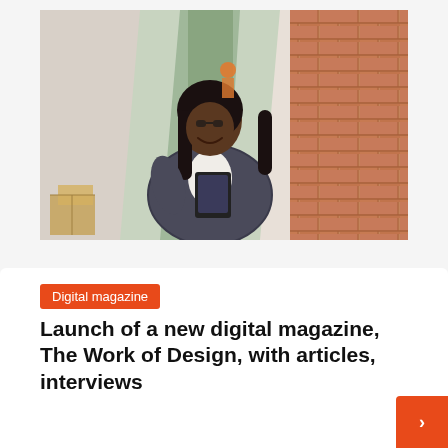[Figure (photo): A smiling woman with long dark hair, wearing a patterned jacket over a white top and holding a tablet, standing in a corridor with a brick wall on the right side.]
Digital magazine
Launch of a new digital magazine, The Work of Design, with articles, interviews